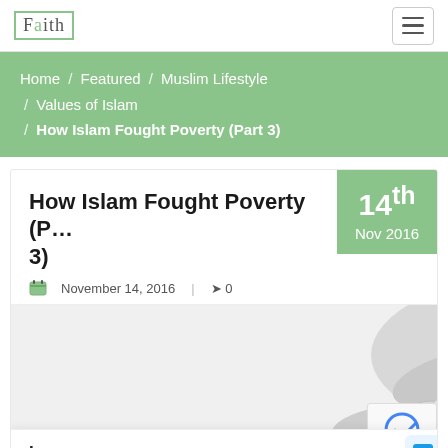Faith | Navigation menu
Home / Featured / Muslim Lifestyle / Values of Islam / How Islam Fought Poverty (Part 3)
How Islam Fought Poverty (Part 3)
November 14, 2016   0
[Figure (photo): Grayscale close-up photo of a hand holding coins, with the word 'Poverty' in green cursive text overlay at the bottom left]
Leave a message